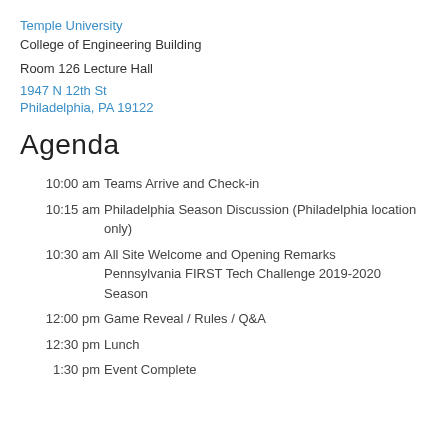Temple University
College of Engineering Building
Room 126 Lecture Hall
1947 N 12th St
Philadelphia, PA 19122
Agenda
10:00 am   Teams Arrive and Check-in
10:15 am   Philadelphia Season Discussion (Philadelphia location only)
10:30 am   All Site Welcome and Opening Remarks
Pennsylvania FIRST Tech Challenge 2019-2020 Season
12:00 pm   Game Reveal / Rules / Q&A
12:30 pm   Lunch
1:30 pm   Event Complete